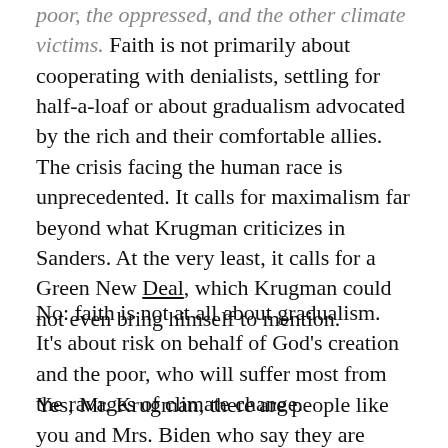poor, the oppressed, and the other climate victims. Faith is not primarily about cooperating with denialists, settling for half-a-loaf or about gradualism advocated by the rich and their comfortable allies. The crisis facing the human race is unprecedented. It calls for maximalism far beyond what Krugman criticizes in Sanders. At the very least, it calls for a Green New Deal, which Krugman could not even bring himself to mention.
No: faith is not at all about gradualism. It's about risk on behalf of God's creation and the poor, who will suffer most from the ravages of climate change.
Yes, Mr. Krugman, there are people like you and Mrs. Biden who say they are concerned, but who cancel out such claims by fearful, self-defeating caution and cowardly willingness to sacrifice even the lives of their children and grandchildren for a